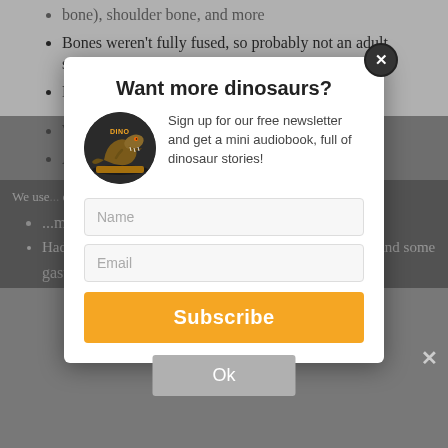bone), shoulder bone, and more
Bones weren't fully fused, so probably not an adult specimen
Part of Megaraptora, lightly built, advanced a...
W... f the t... s... nd in t...
A... l the b...
We use... on our web... that you
... m
Had some pne...es, including in the furcula (wishbo...m and some gastralia
Want more dinosaurs?
Sign up for our free newsletter and get a mini audiobook, full of dinosaur stories!
Name
Email
Subscribe
Ok